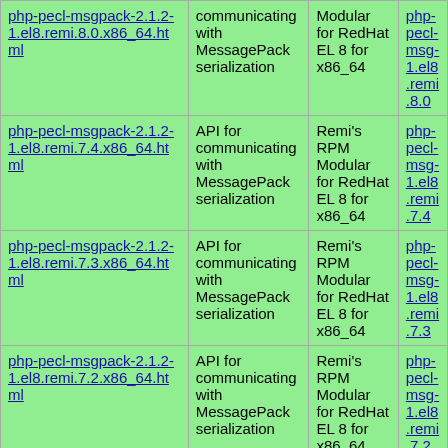| php-pecl-msgpack-2.1.2-1.el8.remi.8.0.x86_64.html | communicating with MessagePack serialization | Modular for RedHat EL 8 for x86_64 | php-pecl-msg...1.el8.remi.8.0... |
| php-pecl-msgpack-2.1.2-1.el8.remi.7.4.x86_64.html | API for communicating with MessagePack serialization | Remi's RPM Modular for RedHat EL 8 for x86_64 | php-pecl-msg...1.el8.remi.7.4... |
| php-pecl-msgpack-2.1.2-1.el8.remi.7.3.x86_64.html | API for communicating with MessagePack serialization | Remi's RPM Modular for RedHat EL 8 for x86_64 | php-pecl-msg...1.el8.remi.7.3... |
| php-pecl-msgpack-2.1.2-1.el8.remi.7.2.x86_64.html | API for communicating with MessagePack serialization | Remi's RPM Modular for RedHat EL 8 for x86_64 | php-pecl-msg...1.el8.remi.7.2... |